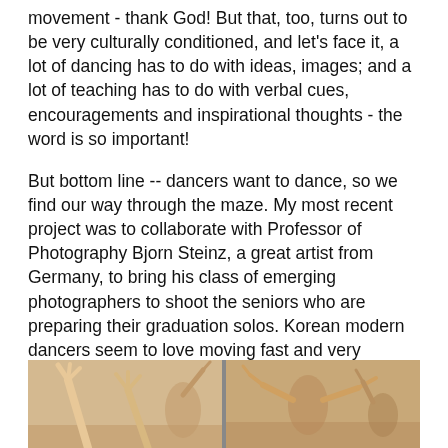movement - thank God! But that, too, turns out to be very culturally conditioned, and let's face it, a lot of dancing has to do with ideas, images; and a lot of teaching has to do with verbal cues, encouragements and inspirational thoughts - the word is so important!
But bottom line -- dancers want to dance, so we find our way through the maze. My most recent project was to collaborate with Professor of Photography Bjorn Steinz, a great artist from Germany, to bring his class of emerging photographers to shoot the seniors who are preparing their graduation solos. Korean modern dancers seem to love moving fast and very dynamic. I jumped in at the end to demonstrate the possibility of also moving slowly.
[Figure (photo): Photograph showing dancers in motion, split into two panels by a vertical divider. Left panel shows raised arms/hands of dancers in a beige/tan studio setting. Right panel shows more dancers in motion in a similar setting.]